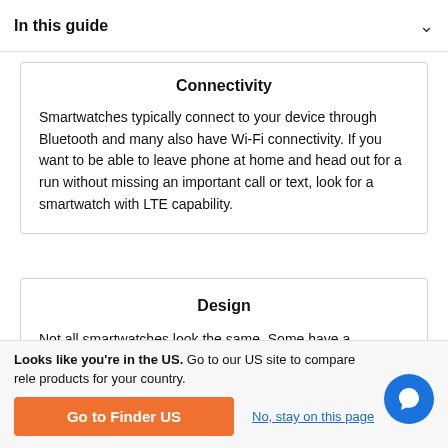In this guide
Connectivity
Smartwatches typically connect to your device through Bluetooth and many also have Wi-Fi connectivity. If you want to be able to leave phone at home and head out for a run without missing an important call or text, look for a smartwatch with LTE capability.
Design
Not all smartwatches look the same. Some have a
Looks like you're in the US. Go to our US site to compare rele products for your country.
Go to Finder US
No, stay on this page